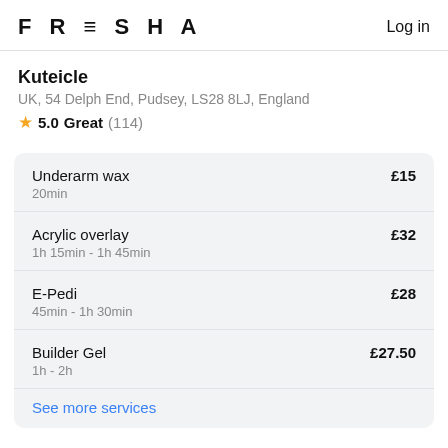FRESHA   Log in
Kuteicle
UK, 54 Delph End, Pudsey, LS28 8LJ, England
★ 5.0 Great (114)
| Service | Duration | Price |
| --- | --- | --- |
| Underarm wax | 20min | £15 |
| Acrylic overlay | 1h 15min - 1h 45min | £32 |
| E-Pedi | 45min - 1h 30min | £28 |
| Builder Gel | 1h - 2h | £27.50 |
See more services